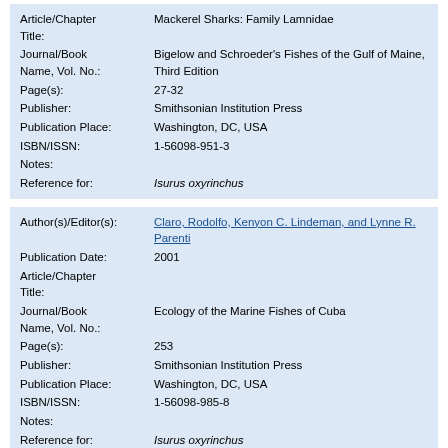| Field | Value |
| --- | --- |
| Article/Chapter Title: | Mackerel Sharks: Family Lamnidae |
| Journal/Book Name, Vol. No.: | Bigelow and Schroeder's Fishes of the Gulf of Maine, Third Edition |
| Page(s): | 27-32 |
| Publisher: | Smithsonian Institution Press |
| Publication Place: | Washington, DC, USA |
| ISBN/ISSN: | 1-56098-951-3 |
| Notes: |  |
| Reference for: | Isurus oxyrinchus |
| Field | Value |
| --- | --- |
| Author(s)/Editor(s): | Claro, Rodolfo, Kenyon C. Lindeman, and Lynne R. Parenti |
| Publication Date: | 2001 |
| Article/Chapter Title: |  |
| Journal/Book Name, Vol. No.: | Ecology of the Marine Fishes of Cuba |
| Page(s): | 253 |
| Publisher: | Smithsonian Institution Press |
| Publication Place: | Washington, DC, USA |
| ISBN/ISSN: | 1-56098-985-8 |
| Notes: |  |
| Reference for: | Isurus oxyrinchus |
| Field | Value |
| --- | --- |
| Author(s)/Editor(s): | Compagno, Leonard J. V. |
| Publication Date: | 1984 |
| Article/Chapter Title: | Sharks of the World: An annotated and illustrated catalogue of shark species known to date |
| Journal/Book Name, Vol. No.: | FAO Fisheries Synopsis, no. 125, vol. 4, pt. 1 |
| Page(s): |  |